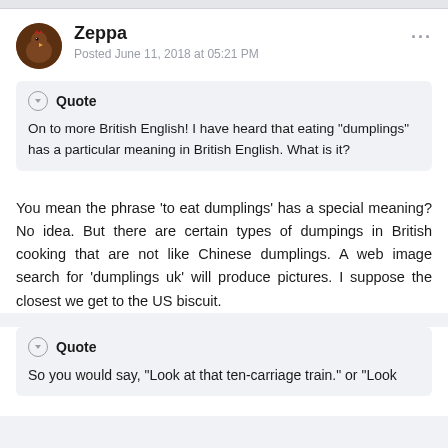Zeppa
Posted June 11, 2018 at 05:21 PM
Quote
On to more British English! I have heard that eating "dumplings" has a particular meaning in British English. What is it?
You mean the phrase 'to eat dumplings' has a special meaning? No idea. But there are certain types of dumpings in British cooking that are not like Chinese dumplings. A web image search for 'dumplings uk' will produce pictures. I suppose the closest we get to the US biscuit.
Quote
So you would say, "Look at that ten-carriage train." or "Look